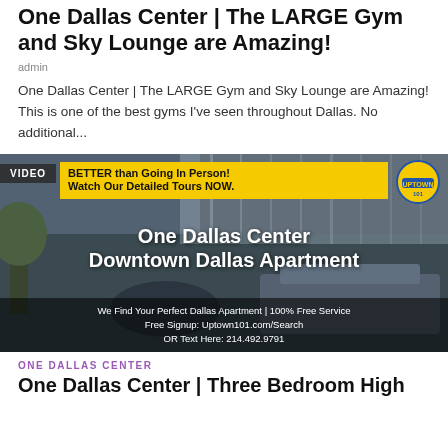One Dallas Center | The LARGE Gym and Sky Lounge are Amazing!
admin
One Dallas Center | The LARGE Gym and Sky Lounge are Amazing! This is one of the best gyms I've seen throughout Dallas. No additional...
[Figure (photo): Promotional image for One Dallas Center Downtown Dallas Apartment with yellow banner reading 'BETTER than Going In Person! Watch Our Detailed Tours NOW.' and overlay text 'One Dallas Center Downtown Dallas Apartment' with a bottom bar reading 'We Find Your Perfect Dallas Apartment | 100% Free Service Free Signup: Uptown101.com/Search OR Text Here: 214.492.9791'. VIDEO badge in top left.]
ONE DALLAS CENTER
One Dallas Center | Three Bedroom High